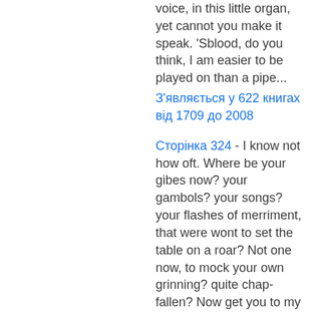voice, in this little organ, yet cannot you make it speak. 'Sblood, do you think, I am easier to be played on than a pipe...
З'являється у 622 книгах від 1709 до 2008
Сторінка 324 - I know not how oft. Where be your gibes now? your gambols? your songs? your flashes of merriment, that were wont to set the table on a roar? Not one now, to mock your own grinning? quite chap-fallen? Now get you to my lady's chamber, and tell her, let her paint an inch thick, to this favour she must come ; make her laugh